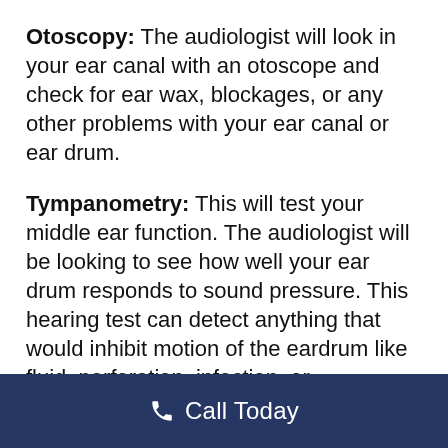Otoscopy: The audiologist will look in your ear canal with an otoscope and check for ear wax, blockages, or any other problems with your ear canal or ear drum.
Tympanometry: This will test your middle ear function. The audiologist will be looking to see how well your ear drum responds to sound pressure. This hearing test can detect anything that would inhibit motion of the eardrum like fluid, perforation, infection, or eustachian tube dysfunction.
Audiometry: This test actually consists of two types of tests: air conduction and bone
Call Today